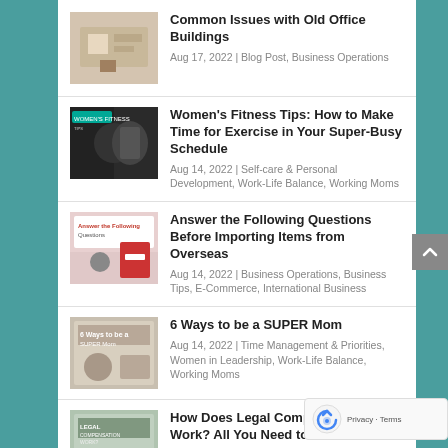Common Issues with Old Office Buildings
Aug 17, 2022 | Blog Post, Business Operations
Women's Fitness Tips: How to Make Time for Exercise in Your Super-Busy Schedule
Aug 14, 2022 | Self-care & Personal Development, Work-Life Balance, Working Moms
Answer the Following Questions Before Importing Items from Overseas
Aug 14, 2022 | Business Operations, Business Tips, E-Commerce, International Business
6 Ways to be a SUPER Mom
Aug 14, 2022 | Time Management & Priorities, Women in Leadership, Work-Life Balance, Working Moms
How Does Legal Compensation Work? All You Need to Know